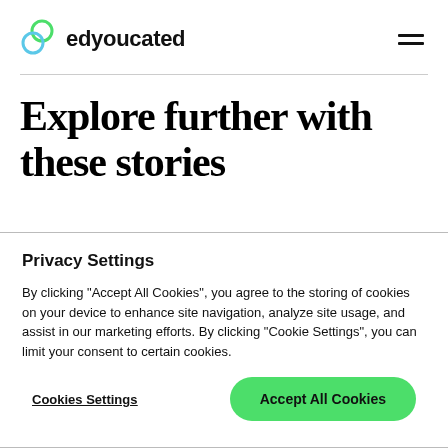edyoucated
Explore further with these stories
Privacy Settings
By clicking "Accept All Cookies", you agree to the storing of cookies on your device to enhance site navigation, analyze site usage, and assist in our marketing efforts. By clicking "Cookie Settings", you can limit your consent to certain cookies.
Cookies Settings   Accept All Cookies